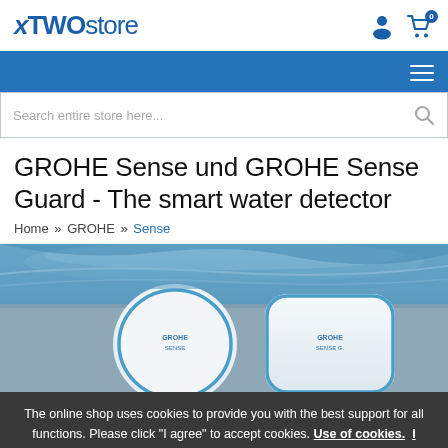xTWOstore
[Figure (screenshot): Blue navigation bar with hamburger menu icon]
[Figure (screenshot): Search bar with placeholder text 'Search entire store here...' and search icon]
GROHE Sense und GROHE Sense Guard - The smart water detector
Home » GROHE » Sense
[Figure (photo): Photo of GROHE Sense (round white device) and GROHE Sense Guard (rectangular white device) partially submerged in water on a blue-grey surface]
The online shop uses cookies to provide you with the best support for all functions. Please click "I agree" to accept cookies. Use of cookies. I agree. ×